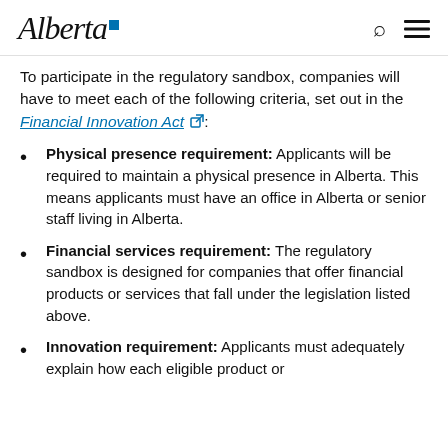Alberta [logo]
To participate in the regulatory sandbox, companies will have to meet each of the following criteria, set out in the Financial Innovation Act:
Physical presence requirement: Applicants will be required to maintain a physical presence in Alberta. This means applicants must have an office in Alberta or senior staff living in Alberta.
Financial services requirement: The regulatory sandbox is designed for companies that offer financial products or services that fall under the legislation listed above.
Innovation requirement: Applicants must adequately explain how each eligible product or